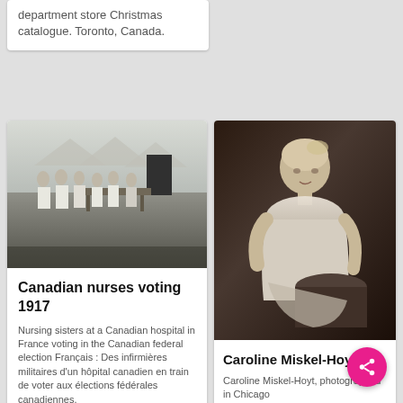department store Christmas catalogue. Toronto, Canada.
[Figure (photo): Black and white photo of nursing sisters at a Canadian hospital in France voting in the Canadian federal election 1917]
Canadian nurses voting 1917
Nursing sisters at a Canadian hospital in France voting in the Canadian federal election Français : Des infirmières militaires d'un hôpital canadien en train de voter aux élections fédérales canadiennes.
[Figure (photo): Black and white portrait photograph of Caroline Miskel-Hoyt in Chicago]
Caroline Miskel-Hoyt
Caroline Miskel-Hoyt, photographed in Chicago